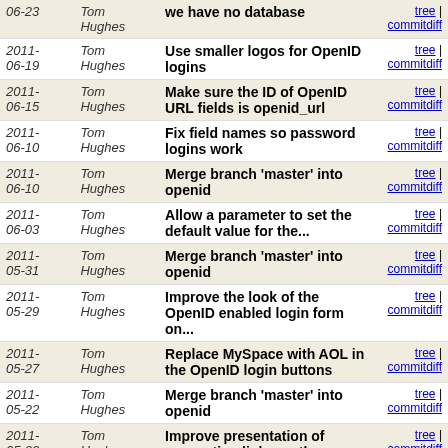| Date | Author | Message | Links |
| --- | --- | --- | --- |
| 2011-06-23 | Tom Hughes | we have no database | tree | commitdiff |
| 2011-06-19 | Tom Hughes | Use smaller logos for OpenID logins | tree | commitdiff |
| 2011-06-15 | Tom Hughes | Make sure the ID of OpenID URL fields is openid_url | tree | commitdiff |
| 2011-06-10 | Tom Hughes | Fix field names so password logins work | tree | commitdiff |
| 2011-06-10 | Tom Hughes | Merge branch 'master' into openid | tree | commitdiff |
| 2011-06-03 | Tom Hughes | Allow a parameter to set the default value for the... | tree | commitdiff |
| 2011-05-31 | Tom Hughes | Merge branch 'master' into openid | tree | commitdiff |
| 2011-05-29 | Tom Hughes | Improve the look of the OpenID enabled login form on... | tree | commitdiff |
| 2011-05-27 | Tom Hughes | Replace MySpace with AOL in the OpenID login buttons | tree | commitdiff |
| 2011-05-22 | Tom Hughes | Merge branch 'master' into openid | tree | commitdiff |
| 2011-05-22 | Tom Hughes | Improve presentation of supporting links on the terms... | tree | commitdiff |
| 2011-05-22 | Grant Slater | Correct some minor html validation errors | tree | commitdiff |
| 2011-05-22 | Grant Slater | Add summary + informal translations links to terms... | tree | commitdiff |
| 2011-05-22 | Tom Hughes | Only add bbox data to the search form while we submit it | tree | commitdiff |